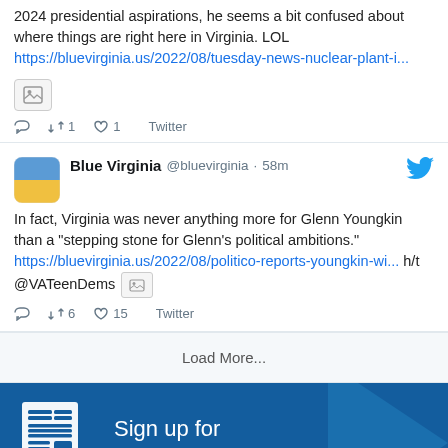2024 presidential aspirations, he seems a bit confused about where things are right here in Virginia. LOL https://bluevirginia.us/2022/08/tuesday-news-nuclear-plant-i...
reply retweet 1 like 1 Twitter
Blue Virginia @bluevirginia · 58m
In fact, Virginia was never anything more for Glenn Youngkin than a "stepping stone for Glenn's political ambitions." https://bluevirginia.us/2022/08/politico-reports-youngkin-wi... h/t @VATeenDems
reply retweet 6 like 15 Twitter
Load More...
[Figure (infographic): Blue newsletter signup banner with newspaper icon and text: Sign up for our newsletter!]